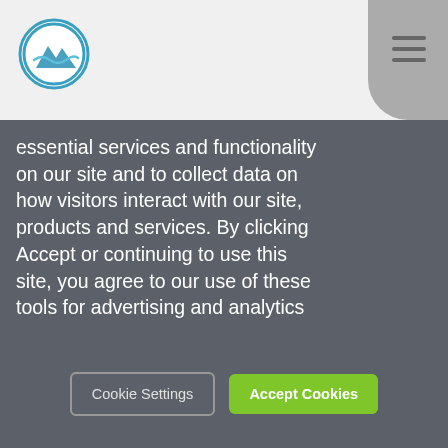[Figure (logo): Circular logo with mountain/wave icon in teal/blue on white background]
essential services and functionality on our site and to collect data on how visitors interact with our site, products and services. By clicking Accept or continuing to use this site, you agree to our use of these tools for advertising and analytics
Brad
hahaha. Looks like you have some interest in this theme Tom i don't think you will be selling pies of it!
ave me a lot of time because I e this design and hell no, I can't o work this good at the moment.
Actually, if you look at
Cookie Settings
Accept Cookies